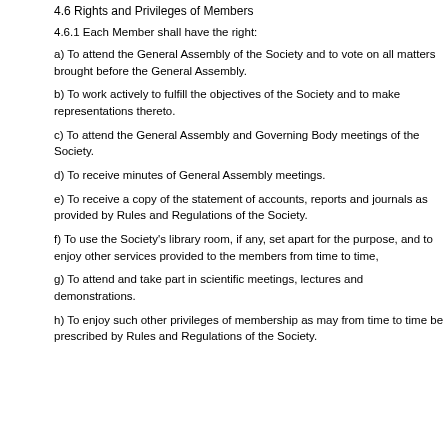4.6 Rights and Privileges of Members
4.6.1 Each Member shall have the right:
a) To attend the General Assembly of the Society and to vote on all matters brought before the General Assembly.
b) To work actively to fulfill the objectives of the Society and to make representations thereto.
c) To attend the General Assembly and Governing Body meetings of the Society.
d) To receive minutes of General Assembly meetings.
e) To receive a copy of the statement of accounts, reports and journals as provided by Rules and Regulations of the Society.
f) To use the Society's library room, if any, set apart for the purpose, and to enjoy other services provided to the members from time to time,
g) To attend and take part in scientific meetings, lectures and demonstrations.
h) To enjoy such other privileges of membership as may from time to time be prescribed by Rules and Regulations of the Society.